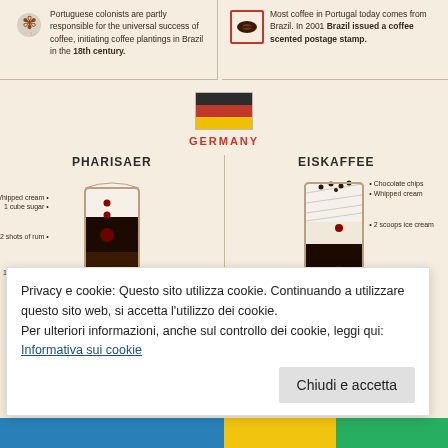Portuguese colonists are partly responsible for the universal success of coffee, initiating coffee plantings in Brazil in the 18th century.
Most coffee in Portugal today comes from Brazil. In 2001 Brazil issued a coffee scented postage stamp.
[Figure (infographic): Germany flag with label GERMANY and two German coffee drink infographics: PHARISAER (Whipped cream, 1 cube sugar, 2 shots of rum, 1 quarter cup black coffee) and EISKAFFEE (Chocolate chips, Whipped cream, 2 scoops ice cream, 1.5 quarts instant coffee)]
Privacy e cookie: Questo sito utilizza cookie. Continuando a utilizzare questo sito web, si accetta l'utilizzo dei cookie. Per ulteriori informazioni, anche sul controllo dei cookie, leggi qui: Informativa sui cookie
Chiudi e accetta